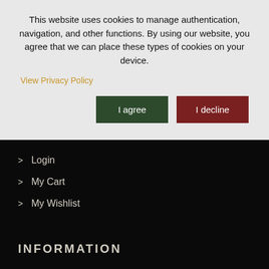This website uses cookies to manage authentication, navigation, and other functions. By using our website, you agree that we can place these types of cookies on your device.
View Privacy Policy
I agree
I decline
> Login
> My Cart
> My Wishlist
INFORMATION
> About Us
> Contact Us
> Privacy Policy